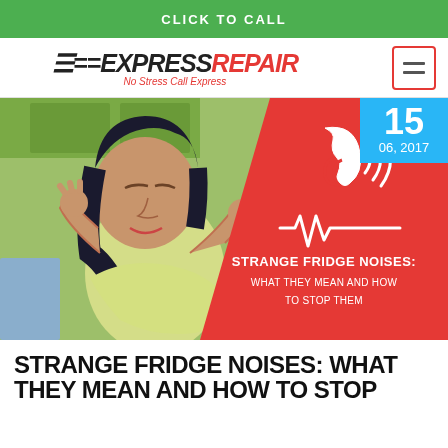CLICK TO CALL
[Figure (logo): Express Repair logo with tagline 'No Stress Call Express' and hamburger menu icon]
[Figure (photo): Hero image: woman covering ears in distress in kitchen setting, with red diagonal overlay showing ear/sound wave icon and text 'STRANGE FRIDGE NOISES: WHAT THEY MEAN AND HOW TO STOP THEM', date badge showing 15 / 06, 2017]
STRANGE FRIDGE NOISES: WHAT THEY MEAN AND HOW TO STOP